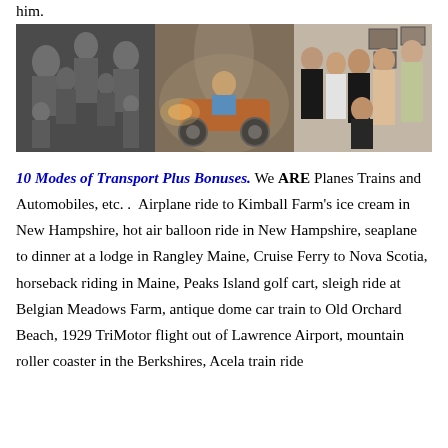him.
[Figure (photo): Three side-by-side family photos: left is a black-and-white group photo with adults and children, middle shows a child on a riding lawn mower with smoky/foggy effect, right is a color group photo of family members posing together indoors.]
10 Modes of Transport Plus Bonuses. We ARE Planes Trains and Automobiles, etc. .  Airplane ride to Kimball Farm's ice cream in New Hampshire, hot air balloon ride in New Hampshire, seaplane to dinner at a lodge in Rangley Maine, Cruise Ferry to Nova Scotia, horseback riding in Maine, Peaks Island golf cart, sleigh ride at Belgian Meadows Farm, antique dome car train to Old Orchard Beach, 1929 TriMotor flight out of Lawrence Airport, mountain roller coaster in the Berkshires, Acela train ride